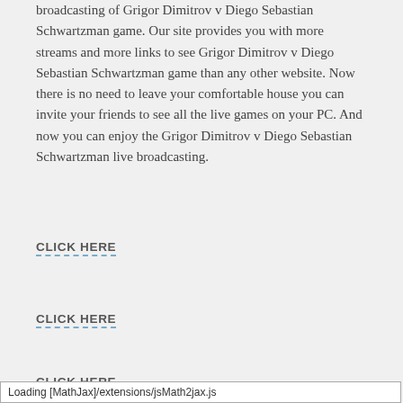broadcasting of Grigor Dimitrov v Diego Sebastian Schwartzman game. Our site provides you with more streams and more links to see Grigor Dimitrov v Diego Sebastian Schwartzman game than any other website. Now there is no need to leave your comfortable house you can invite your friends to see all the live games on your PC. And now you can enjoy the Grigor Dimitrov v Diego Sebastian Schwartzman live broadcasting.
CLICK HERE
CLICK HERE
CLICK HERE
Loading [MathJax]/extensions/jsMath2jax.js